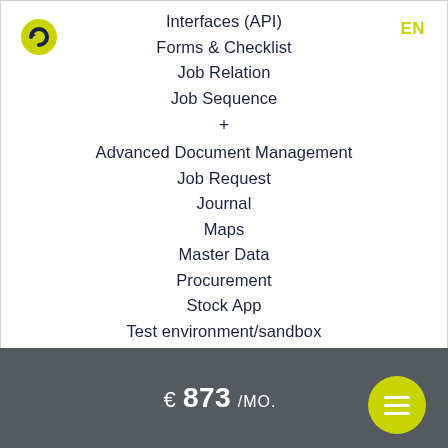[Figure (logo): Yellow/green circular logo with arrow icon]
EN
Interfaces (API)
Forms & Checklist
Job Relation
Job Sequence
+
Advanced Document Management
Job Request
Journal
Maps
Master Data
Procurement
Stock App
Test environment/sandbox
€ 873 /MO.